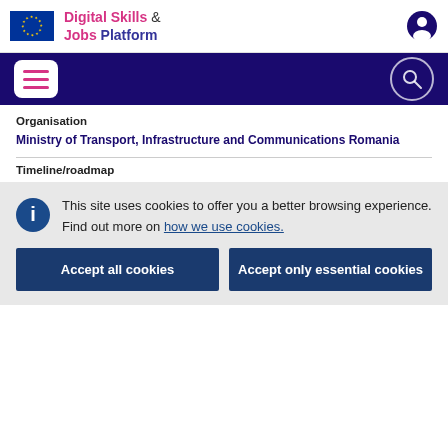Digital Skills & Jobs Platform
Organisation
Ministry of Transport, Infrastructure and Communications Romania
Timeline/roadmap
This site uses cookies to offer you a better browsing experience. Find out more on how we use cookies.
Accept all cookies
Accept only essential cookies